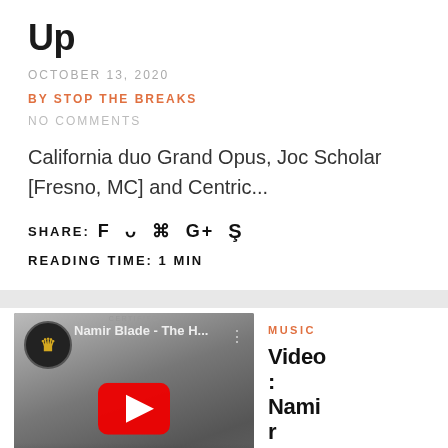Up
OCTOBER 13, 2020
BY STOP THE BREAKS
NO COMMENTS
California duo Grand Opus, Joc Scholar [Fresno, MC] and Centric...
SHARE: f  t  p  G+  Su
READING TIME: 1 MIN
[Figure (screenshot): YouTube video thumbnail for 'Namir Blade - The H...' showing a black and white cityscape scene with a red YouTube play button overlay and channel logo]
MUSIC
Video: Namir Blade T...